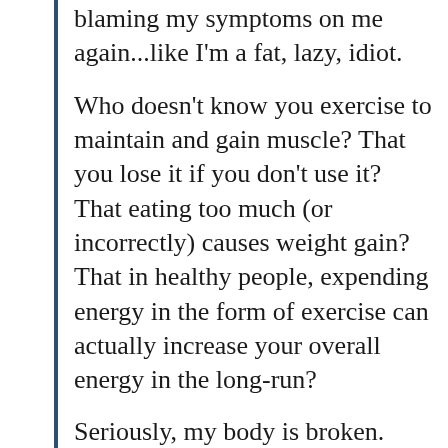blaming my symptoms on me again...like I'm a fat, lazy, idiot.
Who doesn't know you exercise to maintain and gain muscle? That you lose it if you don't use it? That eating too much (or incorrectly) causes weight gain? That in healthy people, expending energy in the form of exercise can actually increase your overall energy in the long-run?
Seriously, my body is broken. These “normal” systems just don’t work.